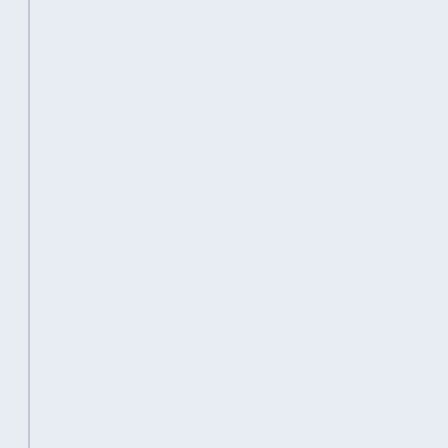Several times the small robot retu… hope this is getting lots of stuff we…
“From the plans the computer has… harvesters. This will allow us to ob… to repair large sections of the ship…
Soon the mini refinery robots retu… capacity.”
“That’s all that’ll fit?” asked Jen.
“Scout ships are not built for large… Harvesters were all destroyed in t… units back on board your ships …”
“Wait, what’s that?” asked Mikala.
“What?” asked Jay. “I’m not detec…
“She’s right, there’s a big rock hea…
“I’m sensing nothing!” said Jay, so… visual feeds – there is definitely a…